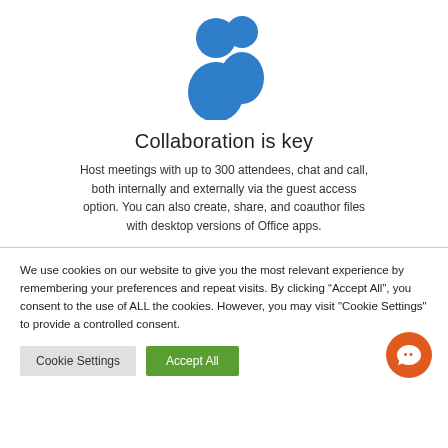[Figure (illustration): Two blue silhouette people/users icon]
Collaboration is key
Host meetings with up to 300 attendees, chat and call, both internally and externally via the guest access option. You can also create, share, and coauthor files with desktop versions of Office apps.
We use cookies on our website to give you the most relevant experience by remembering your preferences and repeat visits. By clicking “Accept All”, you consent to the use of ALL the cookies. However, you may visit "Cookie Settings" to provide a controlled consent.
Cookie Settings
Accept All